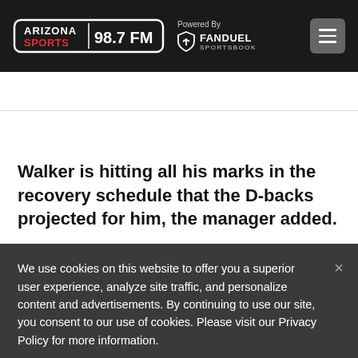Arizona Sports 98.7 FM | Powered By FanDuel Sportsbook
Walker is hitting all his marks in the recovery schedule that the D-backs projected for him, the manager added.
We use cookies on this website to offer you a superior user experience, analyze site traffic, and personalize content and advertisements. By continuing to use our site, you consent to our use of cookies. Please visit our Privacy Policy for more information.
Accept Cookies